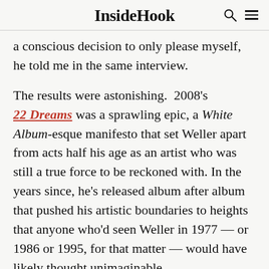InsideHook
a conscious decision to only please myself,  he told me in the same interview.
The results were astonishing.  2008's 22 Dreams was a sprawling epic, a White Album-esque manifesto that set Weller apart from acts half his age as an artist who was still a true force to be reckoned with. In the years since, he's released album after album that pushed his artistic boundaries to heights that anyone who'd seen Weller in 1977 — or 1986 or 1995, for that matter — would have likely thought unimaginable.